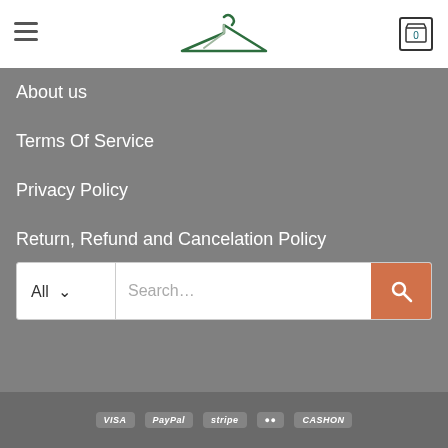OUTFITSHIRT.COM
About us
Terms Of Service
Privacy Policy
Return, Refund and Cancelation Policy
Help Center
Search...
VISA  PayPal  stripe  mastercard  CASHON